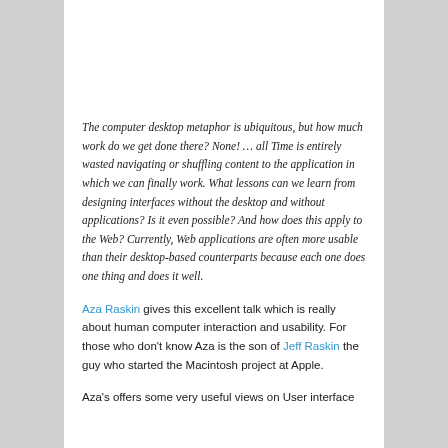The computer desktop metaphor is ubiquitous, but how much work do we get done there? None! … all Time is entirely wasted navigating or shuffling content to the application in which we can finally work. What lessons can we learn from designing interfaces without the desktop and without applications? Is it even possible? And how does this apply to the Web? Currently, Web applications are often more usable than their desktop-based counterparts because each one does one thing and does it well.
Aza Raskin gives this excellent talk which is really about human computer interaction and usability. For those who don't know Aza is the son of Jeff Raskin the guy who started the Macintosh project at Apple.
Aza's offers some very useful views on User interface